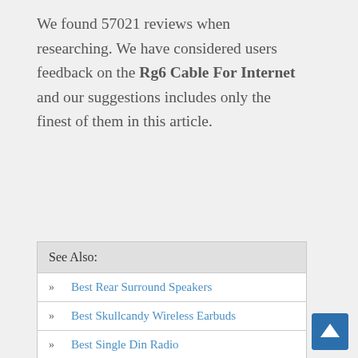We found 57021 reviews when researching. We have considered users feedback on the Rg6 Cable For Internet and our suggestions includes only the finest of them in this article.
| See Also: |
| --- |
| » Best Rear Surround Speakers |
| » Best Skullcandy Wireless Earbuds |
| » Best Single Din Radio |
Table Of Content:
| GE RG6 Coaxial Cable, 50 Ft. F-Type |
| 50ft Quad Shield Solid Copper 3GHZ |